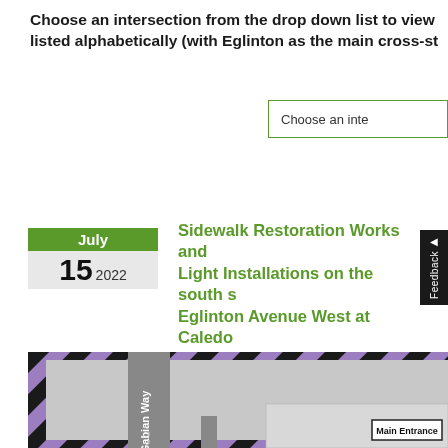Choose an intersection from the drop down list to view listed alphabetically (with Eglinton as the main cross-st
Choose an inte
Sidewalk Restoration Works and Light Installations on the south s Eglinton Avenue West at Caledo Station Monday, July 18, 2022
[Figure (map): Construction zone map showing Gabian Way intersection with Eglinton Avenue West, with black and purple diagonal hazard stripes border, road markings, and a Main Entrance label.]